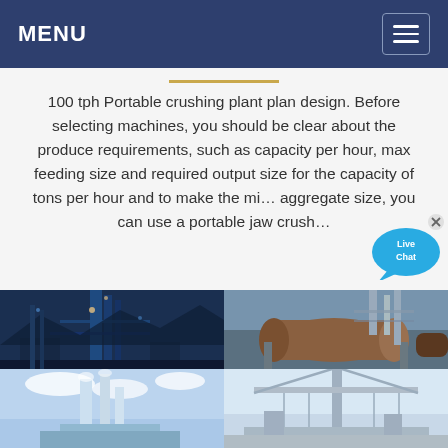MENU
100 tph Portable crushing plant plan design. Before selecting machines, you should be clear about the produce requirements, such as capacity per hour, max feeding size and required output size for the capacity of tons per hour and to make the minimum aggregate size, you can use a portable jaw crush...
[Figure (photo): Four-panel industrial photo grid showing crushing plant and industrial equipment facilities]
[Figure (infographic): Live Chat bubble overlay in top-right area]